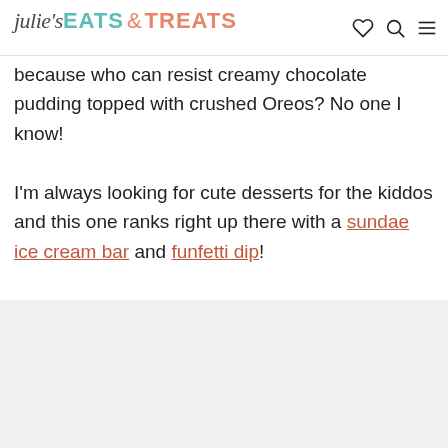julie's EATS & TREATS
because who can resist creamy chocolate pudding topped with crushed Oreos? No one I know!
I'm always looking for cute desserts for the kiddos and this one ranks right up there with a sundae ice cream bar and funfetti dip!
[Figure (photo): Gray/white placeholder image area at the bottom of the page]